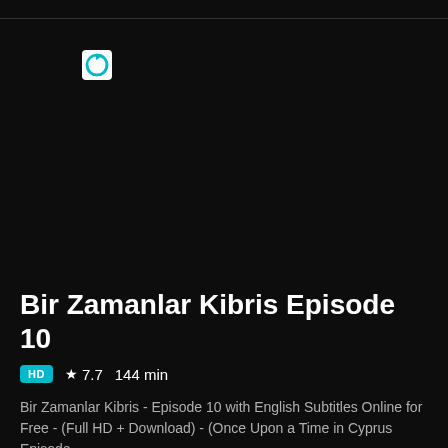[Figure (logo): Small circular app icon with teal/blue refresh-style arrow on white background]
Bir Zamanlar Kibris Episode 10
HD  ★ 7.7  144 min
Bir Zamanlar Kibris - Episode 10 with English Subtitles Online for Free - (Full HD + Download) - (Once Upon a Time in Cyprus Episode